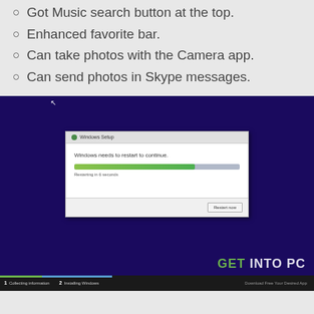Got Music search button at the top.
Enhanced favorite bar.
Can take photos with the Camera app.
Can send photos in Skype messages.
[Figure (screenshot): Screenshot of Windows Setup dialog showing 'Windows needs to restart to continue' with a progress bar partially filled (green) and text 'Restarting in 6 seconds', a 'Restart now' button, on a dark navy background. Bottom status bar shows steps: 1 Collecting information, 2 Installing Windows. GET INTO PC watermark visible.]